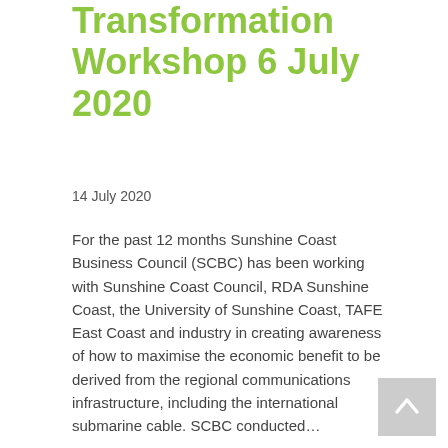Digital Transformation Workshop 6 July 2020
14 July 2020
For the past 12 months Sunshine Coast Business Council (SCBC) has been working with Sunshine Coast Council, RDA Sunshine Coast, the University of Sunshine Coast, TAFE East Coast and industry in creating awareness of how to maximise the economic benefit to be derived from the regional communications infrastructure, including the international submarine cable. SCBC conducted…